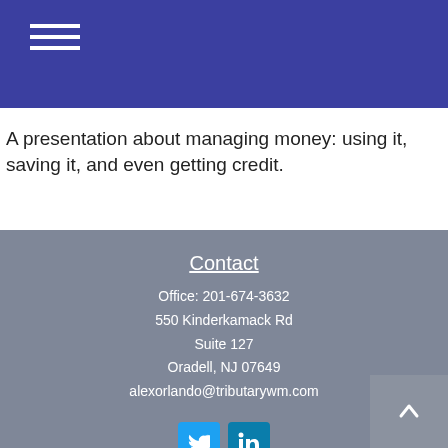Navigation menu icon (hamburger)
A presentation about managing money: using it, saving it, and even getting credit.
Contact
Office: 201-674-3632
550 Kinderkamack Rd
Suite 127
Oradell, NJ 07649
alexorlando@tributarywm.com
[Figure (other): Twitter and LinkedIn social media icon buttons]
Quick Links
Retirement
Investment
Estate